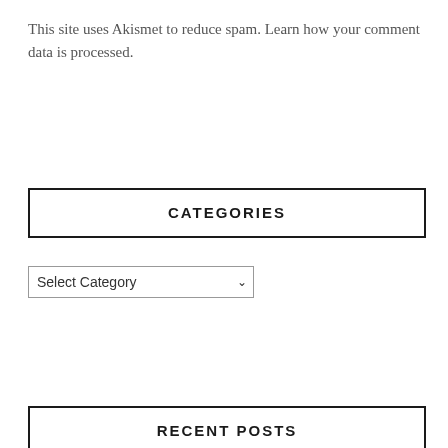This site uses Akismet to reduce spam. Learn how your comment data is processed.
CATEGORIES
Select Category
RECENT POSTS